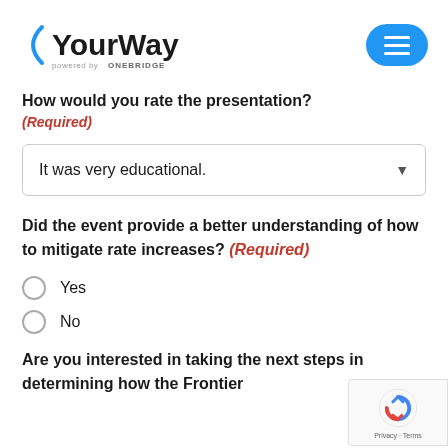YourWay powered by ONEBRIDGE
How would you rate the presentation?
(Required)
It was very educational.
Did the event provide a better understanding of how to mitigate rate increases? (Required)
Yes
No
Are you interested in taking the next steps in determining how the Frontier